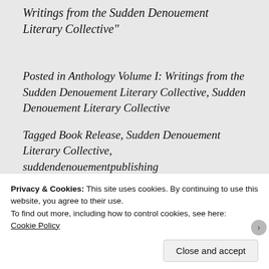Writings from the Sudden Denouement Literary Collective"
Posted in Anthology Volume I: Writings from the Sudden Denouement Literary Collective, Sudden Denouement Literary Collective
Tagged Book Release, Sudden Denouement Literary Collective, suddendenouementpublishing
Privacy & Cookies: This site uses cookies. By continuing to use this website, you agree to their use.
To find out more, including how to control cookies, see here: Cookie Policy
Close and accept